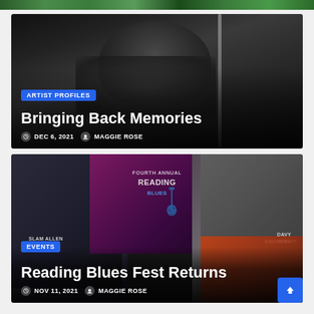[Figure (photo): Partial green/garden image at top of page, cropped]
[Figure (photo): Black and white photo of a woman singing into a microphone with overlay text: ARTIST PROFILES category tag, title 'Bringing Back Memories', date DEC 6, 2021, author MAGGIE ROSE]
Bringing Back Memories
ARTIST PROFILES
DEC 6, 2021   MAGGIE ROSE
[Figure (photo): Colorful photo collage showing blues musicians including Slam Allen in left panel, guitarist in center on purple background, Davy Knowles on right, with Fourth Annual Reading Blues Fest text and guitars, with overlay text: EVENTS category tag, title 'Reading Blues Fest Returns', date NOV 11, 2021, author MAGGIE ROSE]
EVENTS
Reading Blues Fest Returns
NOV 11, 2021   MAGGIE ROSE